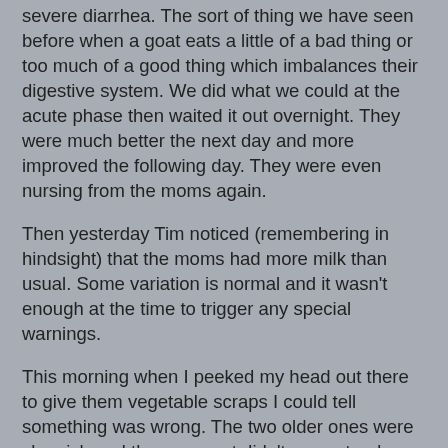severe diarrhea. The sort of thing we have seen before when a goat eats a little of a bad thing or too much of a good thing which imbalances their digestive system. We did what we could at the acute phase then waited it out overnight. They were much better the next day and more improved the following day. They were even nursing from the moms again.
Then yesterday Tim noticed (remembering in hindsight) that the moms had more milk than usual. Some variation is normal and it wasn't enough at the time to trigger any special warnings.
This morning when I peeked my head out there to give them vegetable scraps I could tell something was wrong. The two older ones were sluggish and the youngest didn't even stand up to come over. Alpha was dehydrated and surprisingly skinny. If you think you can handle animals on an average day don't forget to take into consideration the very sick days. Water, bottle feeding, and warm mash for three hours was too little too late. As I carried him out of sight of the herd with my .22 ready he breathed his last in my arms. I was even too late to pull the trigger.